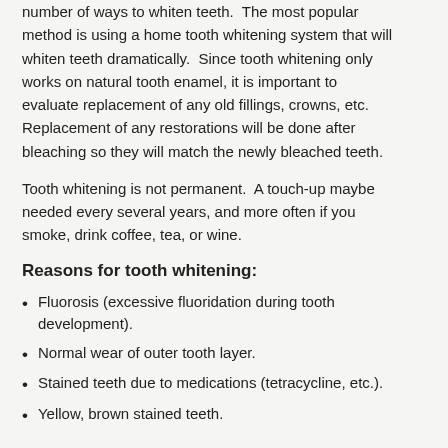number of ways to whiten teeth. The most popular method is using a home tooth whitening system that will whiten teeth dramatically. Since tooth whitening only works on natural tooth enamel, it is important to evaluate replacement of any old fillings, crowns, etc. Replacement of any restorations will be done after bleaching so they will match the newly bleached teeth.
Tooth whitening is not permanent. A touch-up maybe needed every several years, and more often if you smoke, drink coffee, tea, or wine.
Reasons for tooth whitening:
Fluorosis (excessive fluoridation during tooth development).
Normal wear of outer tooth layer.
Stained teeth due to medications (tetracycline, etc.).
Yellow, brown stained teeth.